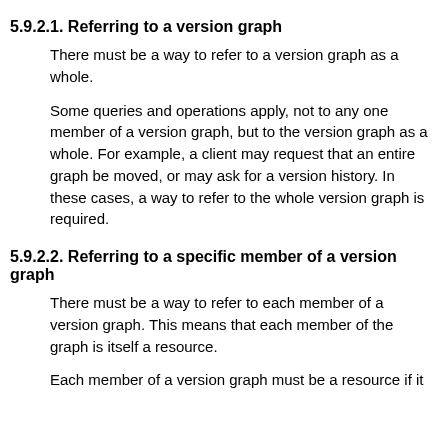5.9.2.1. Referring to a version graph
There must be a way to refer to a version graph as a whole.
Some queries and operations apply, not to any one member of a version graph, but to the version graph as a whole. For example, a client may request that an entire graph be moved, or may ask for a version history. In these cases, a way to refer to the whole version graph is required.
5.9.2.2. Referring to a specific member of a version graph
There must be a way to refer to each member of a version graph. This means that each member of the graph is itself a resource.
Each member of a version graph must be a resource if it